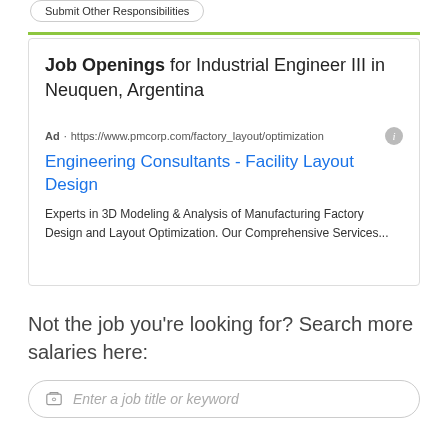Submit Other Responsibilities
Job Openings for Industrial Engineer III in Neuquen, Argentina
Ad · https://www.pmcorp.com/factory_layout/optimization
Engineering Consultants - Facility Layout Design
Experts in 3D Modeling & Analysis of Manufacturing Factory Design and Layout Optimization. Our Comprehensive Services...
Not the job you're looking for? Search more salaries here:
Enter a job title or keyword